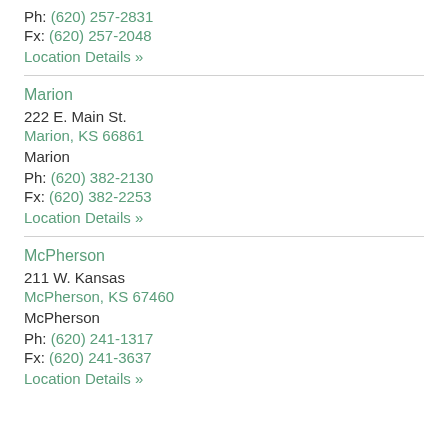Ph: (620) 257-2831
Fx: (620) 257-2048
Location Details »
Marion
222 E. Main St.
Marion, KS 66861
Marion
Ph: (620) 382-2130
Fx: (620) 382-2253
Location Details »
McPherson
211 W. Kansas
McPherson, KS 67460
McPherson
Ph: (620) 241-1317
Fx: (620) 241-3637
Location Details »